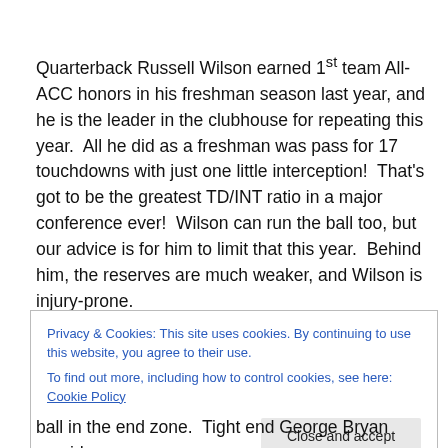Quarterback Russell Wilson earned 1st team All-ACC honors in his freshman season last year, and he is the leader in the clubhouse for repeating this year.  All he did as a freshman was pass for 17 touchdowns with just one little interception!  That's got to be the greatest TD/INT ratio in a major conference ever!  Wilson can run the ball too, but our advice is for him to limit that this year.  Behind him, the reserves are much weaker, and Wilson is injury-prone.
Privacy & Cookies: This site uses cookies. By continuing to use this website, you agree to their use.
To find out more, including how to control cookies, see here: Cookie Policy
Close and accept
ball in the end zone.  Tight end George Bryan provides a